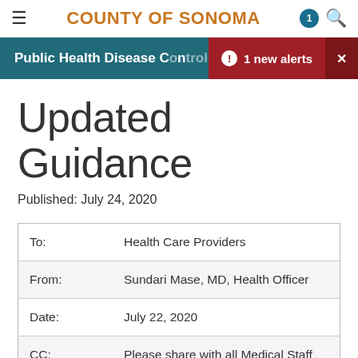COUNTY OF SONOMA
Public Health Disease Control — 1 new alerts
Updated Guidance
Published: July 24, 2020
| Field | Value |
| --- | --- |
| To: | Health Care Providers |
| From: | Sundari Mase, MD, Health Officer |
| Date: | July 22, 2020 |
| CC: | Please share with all Medical Staff |